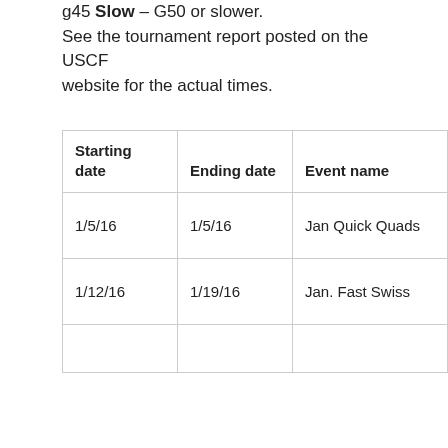g45 Slow – G50 or slower. See the tournament report posted on the USCF website for the actual times.
| Starting date | Ending date | Event name | Pairings – not always posted | cl s |
| --- | --- | --- | --- | --- |
| 1/5/16 | 1/5/16 | Jan Quick Quads | n/a | cl se |
| 1/12/16 | 1/19/16 | Jan. Fast Swiss | n/a | cl se |
|  |  |  |  |  |